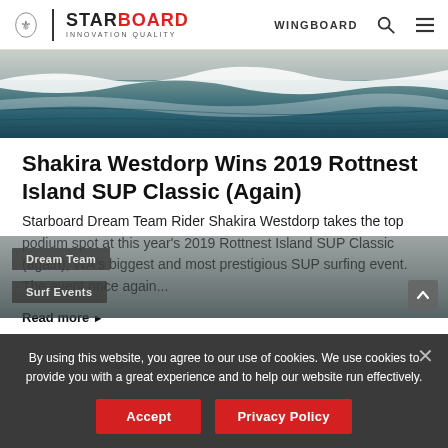STARBOARD INNOVATION QUALITY | WINGBOARD
[Figure (photo): Ocean wave hero image, dark teal and grey water with breaking wave]
Shakira Westdorp Wins 2019 Rottnest Island SUP Classic (Again)
Starboard Dream Team Rider Shakira Westdorp takes the top podium spot at this year's 2019 Rottnest Island SUP Classic (again), WA's biggest and most prestigious SUP surfing event. The event once again...
Read more ▶
By using this website, you agree to our use of cookies. We use cookies to provide you with a great experience and to help our website run effectively.